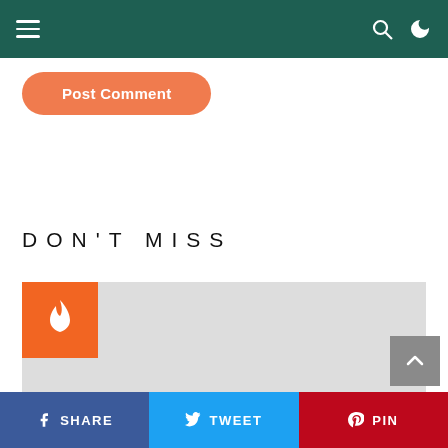Navigation bar with hamburger menu and search/dark-mode icons
Post Comment
DON'T MISS
[Figure (photo): Image placeholder with orange fire icon badge in top-left corner]
SHARE | TWEET | PIN